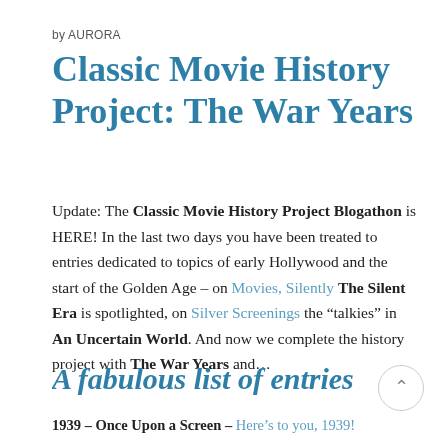by AURORA
Classic Movie History Project: The War Years
Update: The Classic Movie History Project Blogathon is HERE!  In the last two days you have been treated to entries dedicated to topics of early Hollywood and the start of the Golden Age – on Movies, Silently The Silent Era is spotlighted, on Silver Screenings the “talkies” in An Uncertain World.  And now we complete the history project with The War Years and…
A fabulous list of entries
1939 – Once Upon a Screen – Here's to you, 1939!